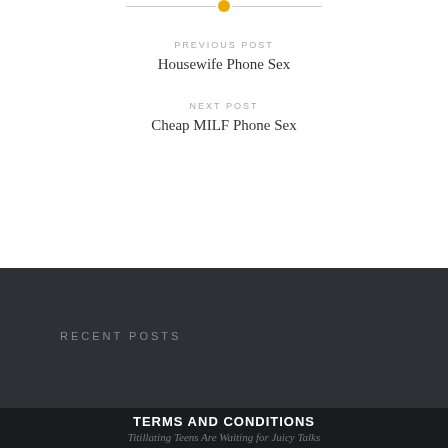[Figure (other): Decorative horizontal divider with orange circle dot in center and gray lines on either side]
PREVIOUS POST
Housewife Phone Sex
NEXT POST
Cheap MILF Phone Sex
RECENT POSTS
TERMS AND CONDITIONS
Titillating Teens Are Waiting for Juicy Talks